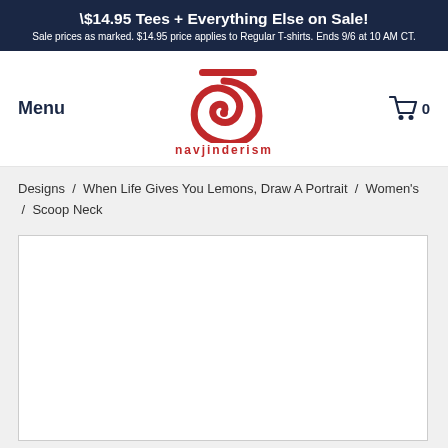$14.95 Tees + Everything Else on Sale! Sale prices as marked. $14.95 price applies to Regular T-shirts. Ends 9/6 at 10 AM CT.
[Figure (logo): Navjinderism logo: red stylized spiral/swirl design with a horizontal bar on top, with text 'navjinderism' below in red]
Menu
[Figure (illustration): Shopping cart icon with number 0]
Designs / When Life Gives You Lemons, Draw A Portrait / Women's / Scoop Neck
[Figure (photo): White product image area (blank/loading)]